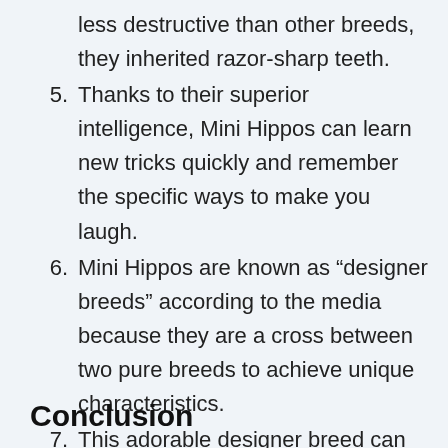less destructive than other breeds, they inherited razor-sharp teeth.
5. Thanks to their superior intelligence, Mini Hippos can learn new tricks quickly and remember the specific ways to make you laugh.
6. Mini Hippos are known as “designer breeds” according to the media because they are a cross between two pure breeds to achieve unique characteristics.
7. This adorable designer breed can live for up to 15 years.
Conclusion